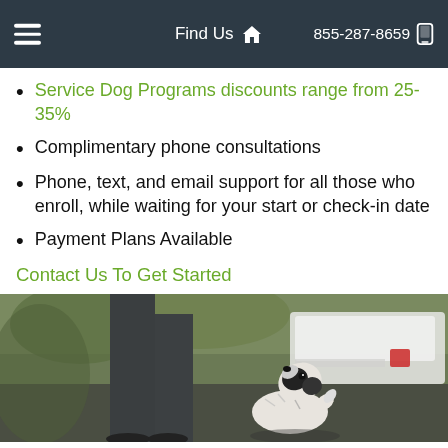Find Us  855-287-8659
Service Dog Programs discounts range from 25-35%
Complimentary phone consultations
Phone, text, and email support for all those who enroll, while waiting for your start or check-in date
Payment Plans Available
Contact Us To Get Started
[Figure (photo): Person standing with a small black and white dog looking up at them outdoors, with a vehicle in the background]